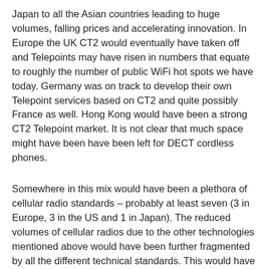Japan to all the Asian countries leading to huge volumes, falling prices and accelerating innovation. In Europe the UK CT2 would eventually have taken off and Telepoints may have risen in numbers that equate to roughly the number of public WiFi hot spots we have today. Germany was on track to develop their own Telepoint services based on CT2 and quite possibly France as well. Hong Kong would have been a strong CT2 Telepoint market. It is not clear that much space might have been have been left for DECT cordless phones.
Somewhere in this mix would have been a plethora of cellular radio standards – probably at least seven (3 in Europe, 3 in the US and 1 in Japan). The reduced volumes of cellular radios due to the other technologies mentioned above would have been further fragmented by all the different technical standards. This would have entrenched cellular radio in the professional electronics industry. The break out to a mass consumer item would not have happened.   Easy access to a mobile network would have been out of reach to the millions of tourists, migrant workers, those further down the corporate ladders and travellers on lower incomes. Phone cards would have been the norm for them.